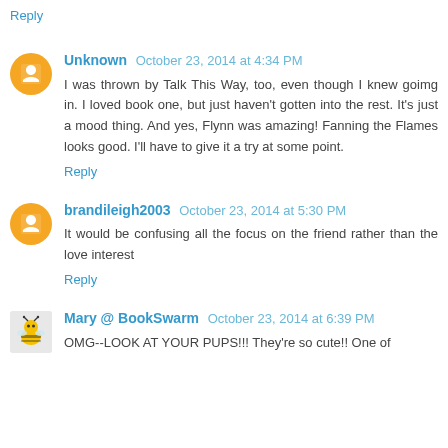Reply
Unknown  October 23, 2014 at 4:34 PM
I was thrown by Talk This Way, too, even though I knew goimg in. I loved book one, but just haven't gotten into the rest. It's just a mood thing. And yes, Flynn was amazing! Fanning the Flames looks good. I'll have to give it a try at some point.
Reply
brandileigh2003  October 23, 2014 at 5:30 PM
It would be confusing all the focus on the friend rather than the love interest
Reply
Mary @ BookSwarm  October 23, 2014 at 6:39 PM
OMG--LOOK AT YOUR PUPS!!! They're so cute!! One of